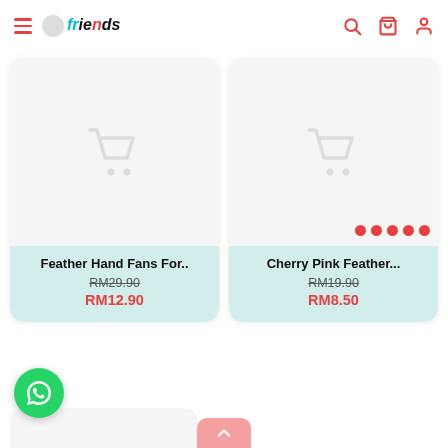allFriends navigation bar with hamburger menu, logo, search, cart, and user icons
[Figure (screenshot): Product card: Feather Hand Fans For.. - image placeholder with cart icon, original price RM29.90, sale price RM12.90]
[Figure (screenshot): Product card: Cherry Pink Feather... - image placeholder with cart icon, original price RM19.90, sale price RM8.50, with red pagination dots]
[Figure (screenshot): WhatsApp chat button (green circle with phone icon) in bottom left]
[Figure (screenshot): Partial third product card visible at bottom, scroll-up button in center bottom]